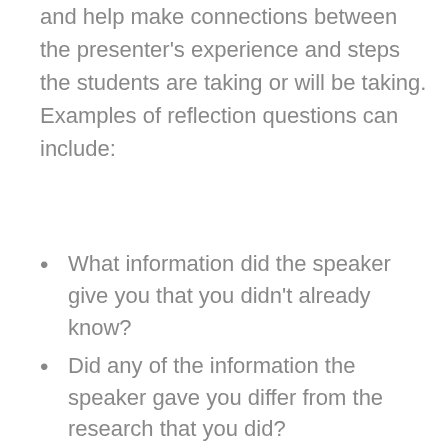and help make connections between the presenter's experience and steps the students are taking or will be taking. Examples of reflection questions can include:
What information did the speaker give you that you didn't already know?
Did any of the information the speaker gave you differ from the research that you did?
After listening to the speaker, are you more interested or less interested in the job?